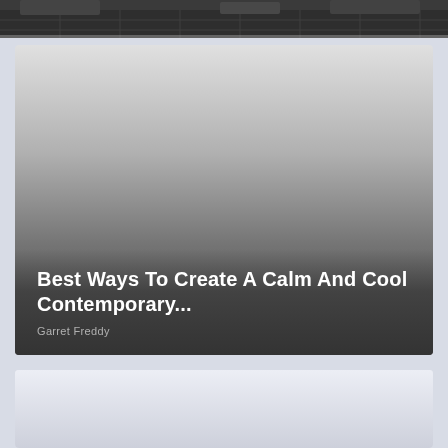[Figure (photo): Top portion of an outdoor patio/deck area with furniture, cropped at the very top of the page]
[Figure (photo): Dark gray gradient card background representing a contemporary interior/exterior design article thumbnail]
Best Ways To Create A Calm And Cool Contemporary...
Garret Freddy
[Figure (photo): Light gray card at the bottom, partially visible, representing another article thumbnail]